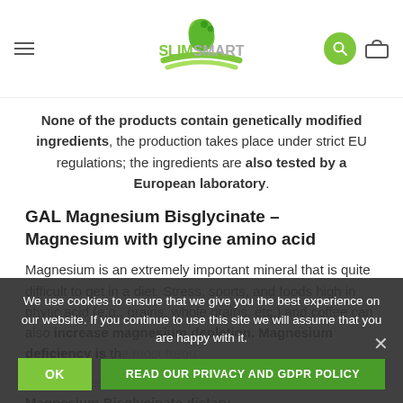SlimSmart logo navigation bar
None of the products contain genetically modified ingredients, the production takes place under strict EU regulations; the ingredients are also tested by a European laboratory.
GAL Magnesium Bisglycinate – Magnesium with glycine amino acid
Magnesium is an extremely important mineral that is quite difficult to get in a diet. Stress, sports, and foods high in phytic acid (e.g., grains, whole grains, etc.) and coffee can also increase magnesium depletion. Magnesium deficiency is the most common...
Taking... clinical trials, the GAL Magnesium Bisglycinate dietary
We use cookies to ensure that we give you the best experience on our website. If you continue to use this site we will assume that you are happy with it.